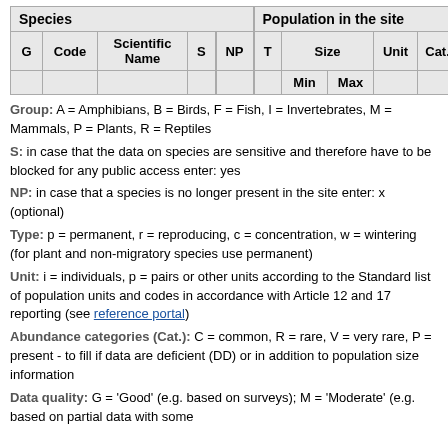| G | Code | Scientific Name | S | NP | T | Size Min | Size Max | Unit | Cat. |
| --- | --- | --- | --- | --- | --- | --- | --- | --- | --- |
Group: A = Amphibians, B = Birds, F = Fish, I = Invertebrates, M = Mammals, P = Plants, R = Reptiles
S: in case that the data on species are sensitive and therefore have to be blocked for any public access enter: yes
NP: in case that a species is no longer present in the site enter: x (optional)
Type: p = permanent, r = reproducing, c = concentration, w = wintering (for plant and non-migratory species use permanent)
Unit: i = individuals, p = pairs or other units according to the Standard list of population units and codes in accordance with Article 12 and 17 reporting (see reference portal)
Abundance categories (Cat.): C = common, R = rare, V = very rare, P = present - to fill if data are deficient (DD) or in addition to population size information
Data quality: G = 'Good' (e.g. based on surveys); M = 'Moderate' (e.g. based on partial data with some